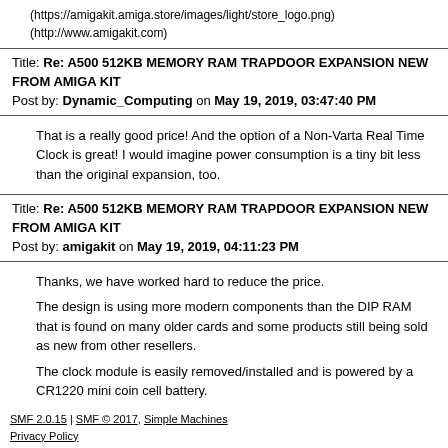(https://amigakit.amiga.store/images/light/store_logo.png)
(http://www.amigakit.com)
Title: Re: A500 512KB MEMORY RAM TRAPDOOR EXPANSION NEW FROM AMIGA KIT
Post by: Dynamic_Computing on May 19, 2019, 03:47:40 PM
That is a really good price! And the option of a Non-Varta Real Time Clock is great! I would imagine power consumption is a tiny bit less than the original expansion, too.
Title: Re: A500 512KB MEMORY RAM TRAPDOOR EXPANSION NEW FROM AMIGA KIT
Post by: amigakit on May 19, 2019, 04:11:23 PM
Thanks, we have worked hard to reduce the price.
The design is using more modern components than the DIP RAM that is found on many older cards and some products still being sold as new from other resellers.
The clock module is easily removed/installed and is powered by a CR1220 mini coin cell battery.
SMF 2.0.15 | SMF © 2017, Simple Machines
Privacy Policy